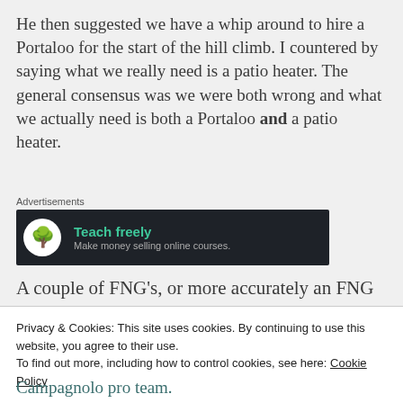He then suggested we have a whip around to hire a Portaloo for the start of the hill climb. I countered by saying what we really need is a patio heater. The general consensus was we were both wrong and what we actually need is both a Portaloo and a patio heater.
Advertisements
[Figure (other): Advertisement banner with dark background showing bonsai tree icon, 'Teach freely' in teal bold text, and 'Make money selling online courses.' subtitle in gray.]
A couple of FNG's, or more accurately an FNG
Privacy & Cookies: This site uses cookies. By continuing to use this website, you agree to their use.
To find out more, including how to control cookies, see here: Cookie Policy
Campagnolo pro team.